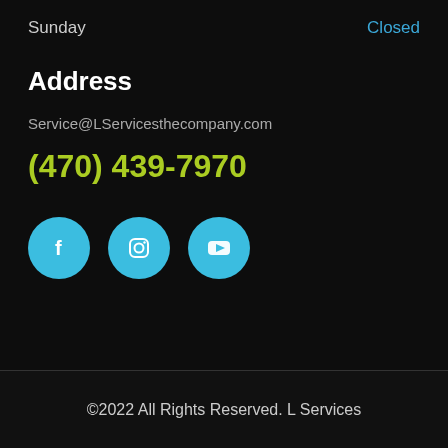Sunday    Closed
Address
Service@LServicesthecompany.com
(470) 439-7970
[Figure (illustration): Three social media icon circles: Facebook (f), Instagram (camera), YouTube (play button), all in light blue circles on dark background]
©2022 All Rights Reserved. L Services